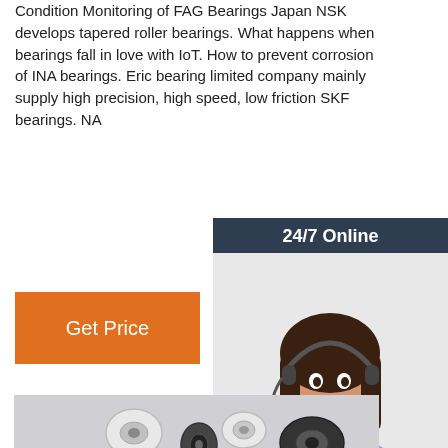Condition Monitoring of FAG Bearings Japan NSK develops tapered roller bearings. What happens when bearings fall in love with IoT. How to prevent corrosion of INA bearings. Eric bearing limited company mainly supply high precision, high speed, low friction SKF bearings. NA...
[Figure (other): Orange 'Get Price' button]
[Figure (photo): 24/7 Online chat widget showing a female customer service representative with headset, with 'Click here for free chat!' text and orange QUOTATION button, dark navy background]
[Figure (photo): Photo of various small plastic and rubber bearings/rollers of different sizes and colors (white, black, dark grey) scattered on a light grey background]